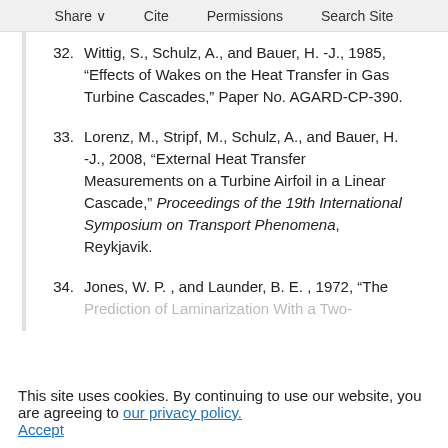Share  Cite  Permissions  Search Site
32. Wittig, S., Schulz, A., and Bauer, H. -J., 1985, “Effects of Wakes on the Heat Transfer in Gas Turbine Cascades,” Paper No. AGARD-CP-390.
33. Lorenz, M., Stripf, M., Schulz, A., and Bauer, H. -J., 2008, “External Heat Transfer Measurements on a Turbine Airfoil in a Linear Cascade,” Proceedings of the 19th International Symposium on Transport Phenomena, Reykjavik.
34. Jones, W. P. , and Launder, B. E. , 1972, “The Prediction of Laminarization With a Two-
This site uses cookies. By continuing to use our website, you are agreeing to our privacy policy. Accept